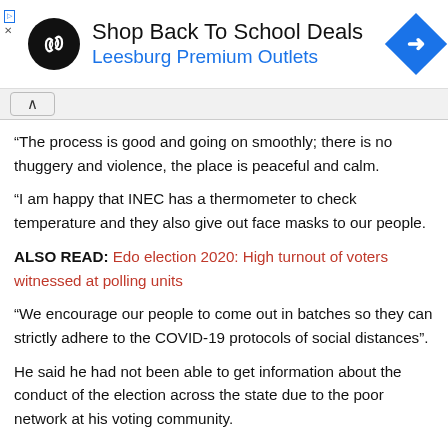[Figure (logo): Advertisement banner: Shop Back To School Deals – Leesburg Premium Outlets, with black circular logo with infinity/arrow symbol and blue diamond navigation icon]
“The process is good and going on smoothly; there is no thuggery and violence, the place is peaceful and calm.
“I am happy that INEC has a thermometer to check temperature and they also give out face masks to our people.
ALSO READ: Edo election 2020: High turnout of voters witnessed at polling units
“We encourage our people to come out in batches so they can strictly adhere to the COVID-19 protocols of social distances”.
He said he had not been able to get information about the conduct of the election across the state due to the poor network at his voting community.